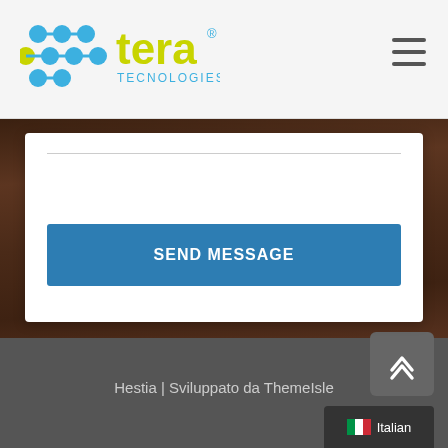[Figure (logo): Tera Tecnologies logo with colorful dots and yellow-green text]
[Figure (other): Hamburger/menu icon (three horizontal lines)]
[Figure (screenshot): White contact form card with input field and SEND MESSAGE button over dark wooden background]
SEND MESSAGE
Hestia | Sviluppato da ThemeIsle
[Figure (other): Scroll-to-top button with up chevron arrows]
[Figure (other): Language switcher showing Italian flag and 'Italian' label]